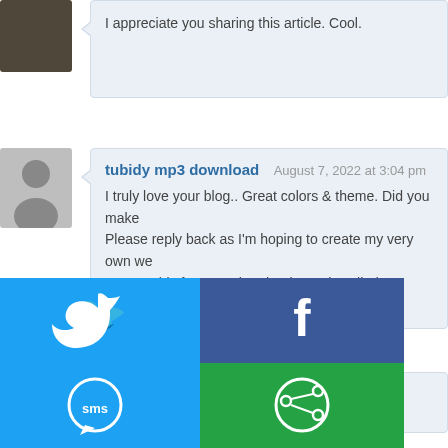I appreciate you sharing this article. Cool.
tubidy mp3 download  August 7, 2022 at 3:04 pm
I truly love your blog.. Great colors & theme. Did you make Please reply back as I'm hoping to create my very own we you got this from or what the theme is called. Thanks!
[Figure (infographic): Social share buttons grid: Twitter (blue), Facebook (dark blue), Email (grey), WhatsApp (green), SMS (blue), Sharethis (green)]
s  August 7, 2022 at 4:
one of the greatest s